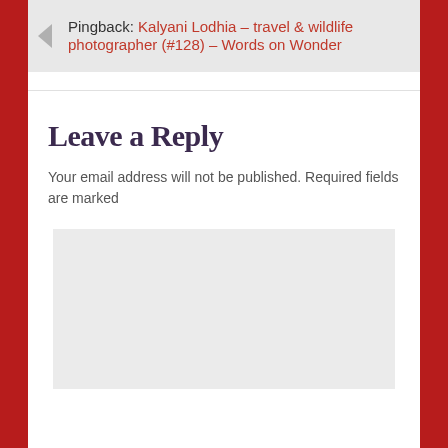Pingback: Kalyani Lodhia – travel & wildlife photographer (#128) – Words on Wonder
Leave a Reply
Your email address will not be published. Required fields are marked
[Figure (other): Empty text area input box with light gray background]